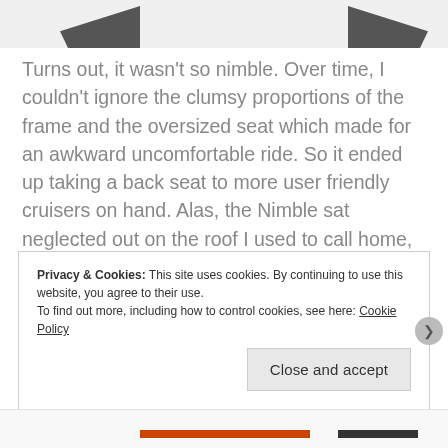[Figure (photo): Top portion of a bicycle or vehicle image showing two dark wing/fin shapes on a light gray background]
Turns out, it wasn't so nimble. Over time, I couldn't ignore the clumsy proportions of the frame and the oversized seat which made for an awkward uncomfortable ride. So it ended up taking a back seat to more user friendly cruisers on hand. Alas, the Nimble sat neglected out on the roof I used to call home, braving the Southern California elements.
Privacy & Cookies: This site uses cookies. By continuing to use this website, you agree to their use.
To find out more, including how to control cookies, see here: Cookie Policy
Close and accept